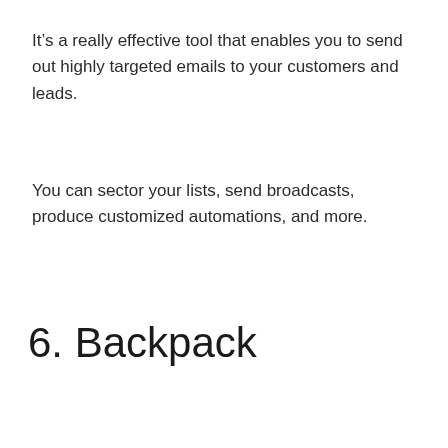It’s a really effective tool that enables you to send out highly targeted emails to your customers and leads.
You can sector your lists, send broadcasts, produce customized automations, and more.
6. Backpack